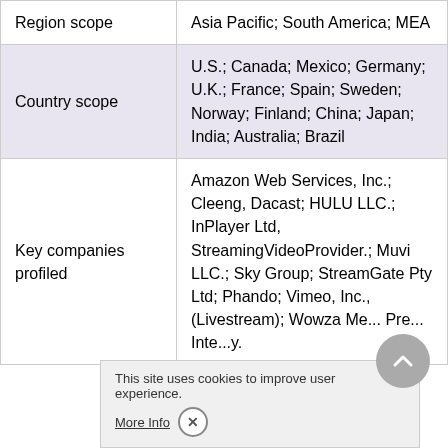| Region scope | Asia Pacific; South America; MEA |
| Country scope | U.S.; Canada; Mexico; Germany; U.K.; France; Spain; Sweden; Norway; Finland; China; Japan; India; Australia; Brazil |
| Key companies profiled | Amazon Web Services, Inc.; Cleeng, Dacast; HULU LLC.; InPlayer Ltd, StreamingVideoProvider.; Muvi LLC.; Sky Group; StreamGate Pty Ltd; Phando; Vimeo, Inc., (Livestream); Wowza Me... Pre... Inte...y. |